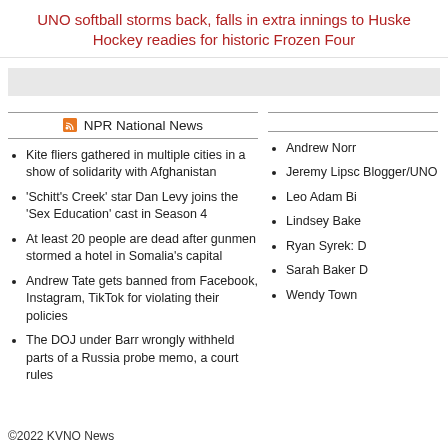UNO softball storms back, falls in extra innings to Huske Hockey readies for historic Frozen Four
NPR National News
Kite fliers gathered in multiple cities in a show of solidarity with Afghanistan
'Schitt's Creek' star Dan Levy joins the 'Sex Education' cast in Season 4
At least 20 people are dead after gunmen stormed a hotel in Somalia's capital
Andrew Tate gets banned from Facebook, Instagram, TikTok for violating their policies
The DOJ under Barr wrongly withheld parts of a Russia probe memo, a court rules
Andrew Norr
Jeremy Lipsc Blogger/UNO
Leo Adam Bi
Lindsey Bake
Ryan Syrek: D
Sarah Baker D
Wendy Town
©2022 KVNO News